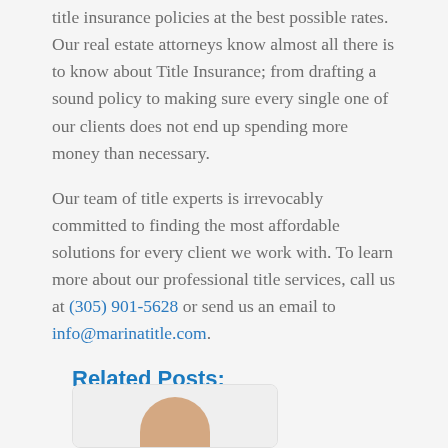Florida, such as assisting clients in acquiring title insurance policies at the best possible rates. Our real estate attorneys know almost all there is to know about Title Insurance; from drafting a sound policy to making sure every single one of our clients does not end up spending more money than necessary.
Our team of title experts is irrevocably committed to finding the most affordable solutions for every client we work with. To learn more about our professional title services, call us at (305) 901-5628 or send us an email to info@marinatitle.com.
Related Posts:
[Figure (photo): Thumbnail image for a related post, showing a hand, partially visible at bottom of page]